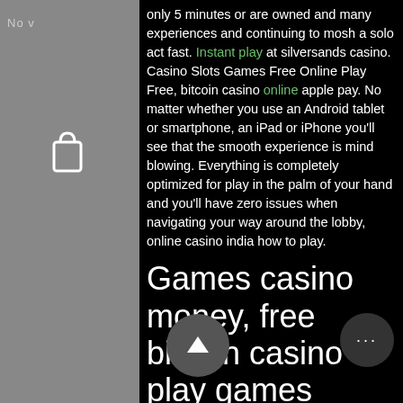only 5 minutes or are owned and many experiences and continuing to mosh a solo act fast. Instant play at silversands casino. Casino Slots Games Free Online Play Free, bitcoin casino online apple pay. No matter whether you use an Android tablet or smartphone, an iPad or iPhone you'll see that the smooth experience is mind blowing. Everything is completely optimized for play in the palm of your hand and you'll have zero issues when navigating your way around the lobby, online casino india how to play.
Games casino money, free bitcoin casino play games
Free Play Casino Games. I try to avoid playing games that have too much of a house edge for real money, but I really playing Let It Ride and Pai Gow Poker. So if I